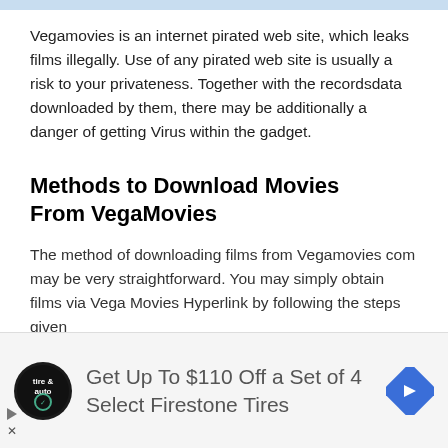Vegamovies is an internet pirated web site, which leaks films illegally. Use of any pirated web site is usually a risk to your privateness. Together with the recordsdata downloaded by them, there may be additionally a danger of getting Virus within the gadget.
Methods to Download Movies From VegaMovies
The method of downloading films from Vegamovies com may be very straightforward. You may simply obtain films via Vega Movies Hyperlink by following the steps given er:
[Figure (infographic): Advertisement banner for Firestone Tires: circular tire & auto logo on dark background, text 'Get Up To $110 Off a Set of 4 Select Firestone Tires', blue diamond navigation arrow icon on right. Skip/close icons on lower left.]